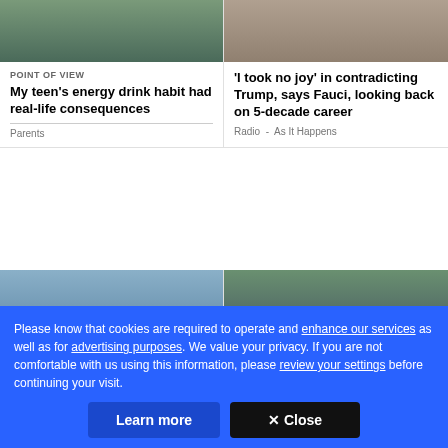[Figure (photo): Photo of a person drinking or holding something outdoors]
[Figure (photo): Photo of an elderly person with white earbuds or strings]
POINT OF VIEW
My teen's energy drink habit had real-life consequences
Parents
'I took no joy' in contradicting Trump, says Fauci, looking back on 5-decade career
Radio  -  As It Happens
[Figure (photo): Photo of a dog swimming in rapids wearing a yellow life jacket]
[Figure (photo): Photo of jockeys on horses at a racing event]
Please know that cookies are required to operate and enhance our services as well as for advertising purposes. We value your privacy. If you are not comfortable with us using this information, please review your settings before continuing your visit.
Learn more
✕ Close